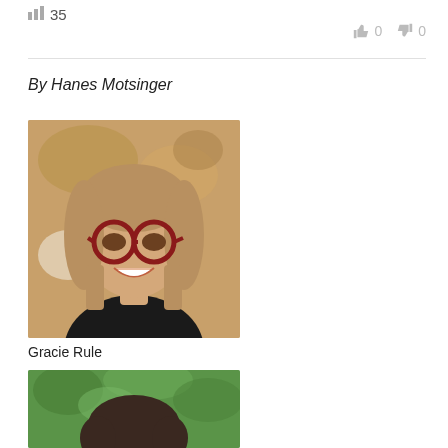35
0 0
By Hanes Motsinger
[Figure (photo): Portrait photo of Gracie Rule, a young woman with shoulder-length blonde hair, red glasses, and a black shirt, smiling at camera against a warm brown background.]
Gracie Rule
[Figure (photo): Partial portrait photo of a person with dark hair against a green leafy background, cropped at the bottom of the page.]